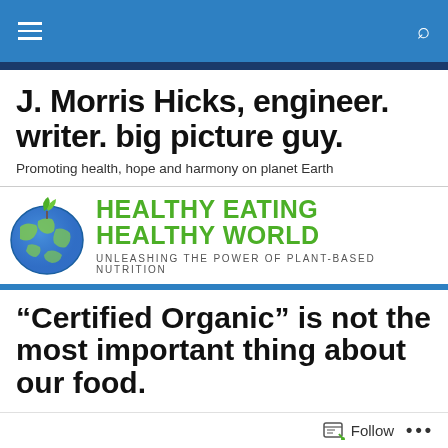J. Morris Hicks, engineer. writer. big picture guy. — site header with menu and search icons
J. Morris Hicks, engineer. writer. big picture guy.
Promoting health, hope and harmony on planet Earth
[Figure (illustration): Healthy Eating Healthy World book banner with globe apple logo and green text: HEALTHY EATING HEALTHY WORLD — UNLEASHING THE POWER OF PLANT-BASED NUTRITION]
“Certified Organic” is not the most important thing about our food.